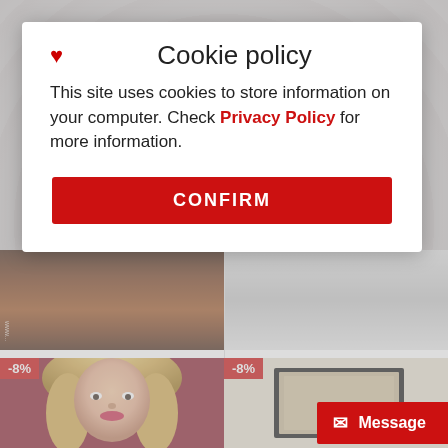Cookie policy
This site uses cookies to store information on your computer. Check Privacy Policy for more information.
CONFIRM
Middle Shorts
9 90€
NEUROLE Garter coleguiala
18 90€ 16 90€
-8%
-8%
Message